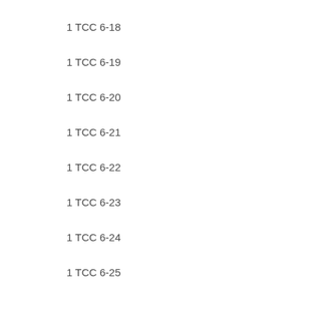1 TCC 6-18
1 TCC 6-19
1 TCC 6-20
1 TCC 6-21
1 TCC 6-22
1 TCC 6-23
1 TCC 6-24
1 TCC 6-25